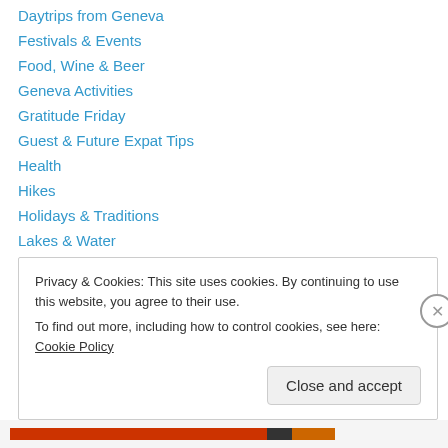Daytrips from Geneva
Festivals & Events
Food, Wine & Beer
Geneva Activities
Gratitude Friday
Guest & Future Expat Tips
Health
Hikes
Holidays & Traditions
Lakes & Water
Learning & Growing
Life in Geneva
Life in our flat
Privacy & Cookies: This site uses cookies. By continuing to use this website, you agree to their use. To find out more, including how to control cookies, see here: Cookie Policy